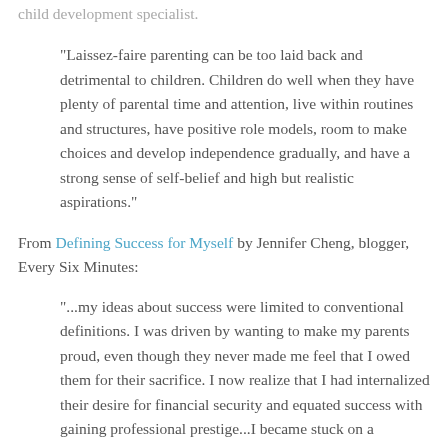child development specialist.
"Laissez-faire parenting can be too laid back and detrimental to children. Children do well when they have plenty of parental time and attention, live within routines and structures, have positive role models, room to make choices and develop independence gradually, and have a strong sense of self-belief and high but realistic aspirations."
From Defining Success for Myself by Jennifer Cheng, blogger, Every Six Minutes:
"...my ideas about success were limited to conventional definitions. I was driven by wanting to make my parents proud, even though they never made me feel that I owed them for their sacrifice. I now realize that I had internalized their desire for financial security and equated success with gaining professional prestige...I became stuck on a StairMaster of life, steadily tracking along an upward career trajectory but finding no